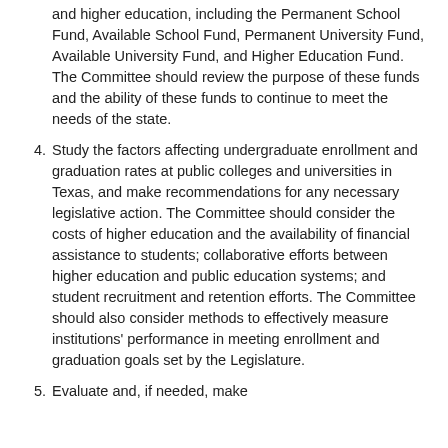and higher education, including the Permanent School Fund, Available School Fund, Permanent University Fund, Available University Fund, and Higher Education Fund. The Committee should review the purpose of these funds and the ability of these funds to continue to meet the needs of the state.
4. Study the factors affecting undergraduate enrollment and graduation rates at public colleges and universities in Texas, and make recommendations for any necessary legislative action. The Committee should consider the costs of higher education and the availability of financial assistance to students; collaborative efforts between higher education and public education systems; and student recruitment and retention efforts. The Committee should also consider methods to effectively measure institutions' performance in meeting enrollment and graduation goals set by the Legislature.
5. Evaluate and, if needed, make